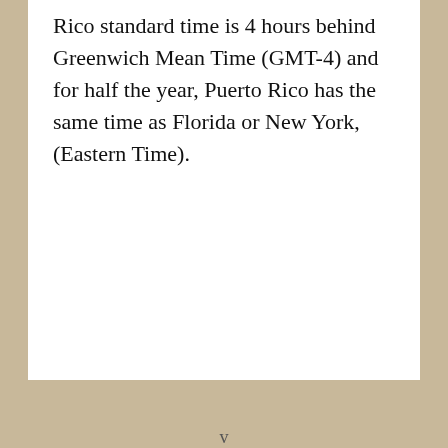Rico standard time is 4 hours behind Greenwich Mean Time (GMT-4) and for half the year, Puerto Rico has the same time as Florida or New York, (Eastern Time).